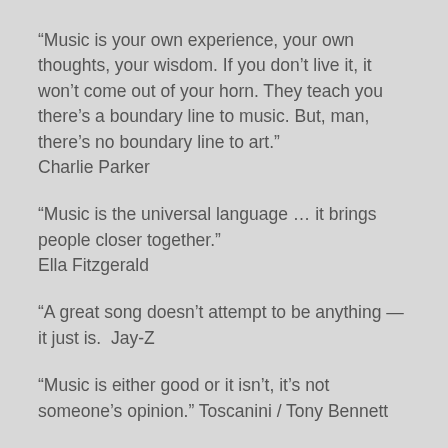“Music is your own experience, your own thoughts, your wisdom. If you don’t live it, it won’t come out of your horn. They teach you there’s a boundary line to music. But, man, there’s no boundary line to art.” Charlie Parker
“Music is the universal language … it brings people closer together.” Ella Fitzgerald
“A great song doesn’t attempt to be anything — it just is.  Jay-Z
“Music is either good or it isn’t, it’s not someone’s opinion.” Toscanini / Tony Bennett
“My music is the spiritual expression of what I am — my faith, my knowledge, my being. When you begin to